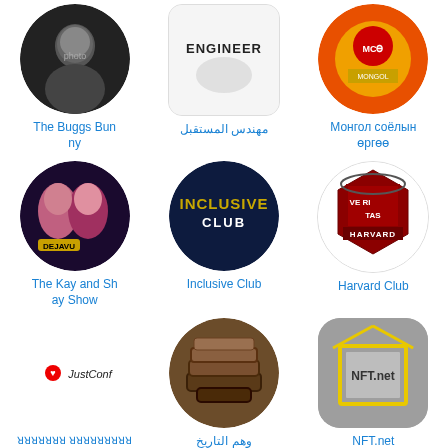[Figure (photo): Circular avatar photo of a person in dark clothing]
The Buggs Bunny
[Figure (logo): Engineer logo with text ENGINEER on white background]
مهندس المستقبل
[Figure (logo): Mongolian cultural center logo with golden emblem on orange/red background]
Монгол соёлын өргөө
[Figure (photo): Circular photo of two women with DEJAVU text overlay]
The Kay and Shay Show
[Figure (logo): Inclusive Club dark circular logo with gold text]
Inclusive Club
[Figure (logo): Harvard Club shield logo with VERITAS text]
Harvard Club
[Figure (logo): JustConf logo with heart icon on white background]
ꓤꓤꓤꓤꓤꓤꓤ ꓤꓤꓤꓤꓤꓤꓤꓤꓤ ꓤꓤꓤꓤ
[Figure (photo): Circular photo of stacked old leather-bound books]
وهم التاريخ
[Figure (logo): NFT.net logo with yellow picture frame on gray rounded square]
NFT.net
[Figure (photo): Partial circular photo of person near parking sign, bottom of page]